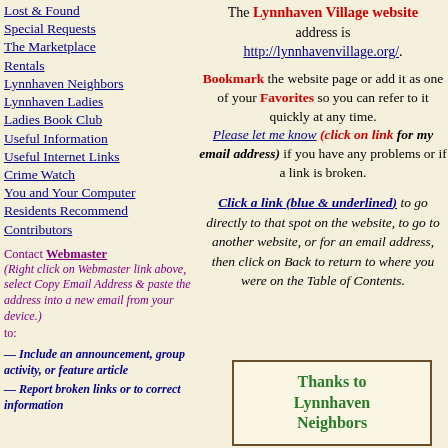Lost & Found
Special Requests
The Marketplace
Rentals
Lynnhaven Neighbors
Lynnhaven Ladies
Ladies Book Club
Useful Information
Useful Internet Links
Crime Watch
You and Your Computer
Residents Recommend
Contributors
Contact Webmaster (Right click on Webmaster link above, select Copy Email Address & paste the address into a new email from your device.) to:
— Include an announcement, group activity, or feature article
— Report broken links or to correct information
The Lynnhaven Village website address is http://lynnhavenvillage.org/.
Bookmark the website page or add it as one of your Favorites so you can refer to it quickly at any time. Please let me know (click on link for my email address) if you have any problems or if a link is broken.
Click a link (blue & underlined) to go directly to that spot on the website, to go to another website, or for an email address, then click on Back to return to where you were on the Table of Contents.
Thanks to Lynnhaven Neighbors